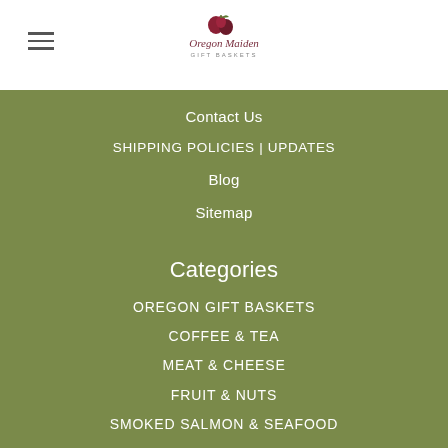[Figure (logo): Oregon Maiden Gift Baskets logo with apple/berry graphic and script text]
Contact Us
SHIPPING POLICIES | UPDATES
Blog
Sitemap
Categories
OREGON GIFT BASKETS
COFFEE & TEA
MEAT & CHEESE
FRUIT & NUTS
SMOKED SALMON & SEAFOOD
Popular Brands
Cowtown-USA
Oregon Maiden Gift Baskets
Stumptown Coffee Roasters